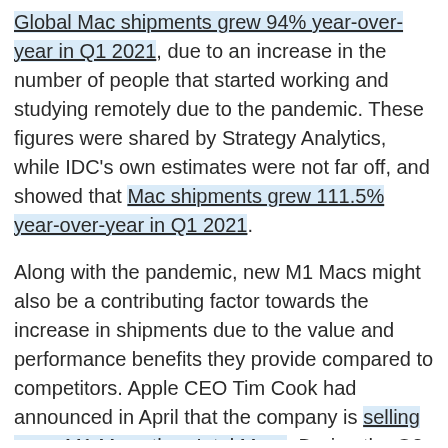Global Mac shipments grew 94% year-over-year in Q1 2021, due to an increase in the number of people that started working and studying remotely due to the pandemic. These figures were shared by Strategy Analytics, while IDC's own estimates were not far off, and showed that Mac shipments grew 111.5% year-over-year in Q1 2021.
Along with the pandemic, new M1 Macs might also be a contributing factor towards the increase in shipments due to the value and performance benefits they provide compared to competitors. Apple CEO Tim Cook had announced in April that the company is selling more M1 Macs than Intel Macs. During the Q2 2021 earnings call, Cook had also said that iPad and Mac production will be impacted by the ongoing global chip shortage in Q3 2021.